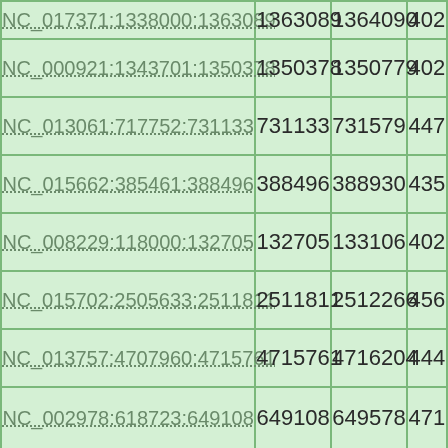| NC_017371:1338000:1363089 | 1363089 | 1364090 | 402 |
| NC_000921:1343701:1350378 | 1350378 | 1350779 | 402 |
| NC_013061:717752:731133 | 731133 | 731579 | 447 |
| NC_015662:385461:388496 | 388496 | 388930 | 435 |
| NC_008229:118000:132705 | 132705 | 133106 | 402 |
| NC_015702:2505633:2511811 | 2511811 | 2512266 | 456 |
| NC_013757:4707960:4715761 | 4715761 | 4716204 | 444 |
| NC_002978:618723:649108 | 649108 | 649578 | 471 |